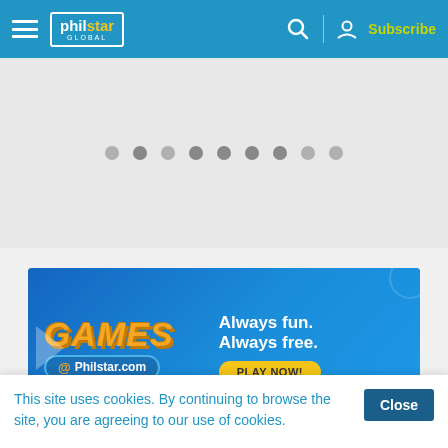philstar GLOBAL — Subscribe
[Figure (screenshot): Carousel navigation dots, 9 dots with second one active]
[Figure (infographic): Games @ Philstar.com banner ad — Always fun. Always free. PLAY NOW!]
[Figure (photo): Partial blue banner ad strip]
This site uses cookies. By continuing to browse the site, you are agreeing to our use of cookies.